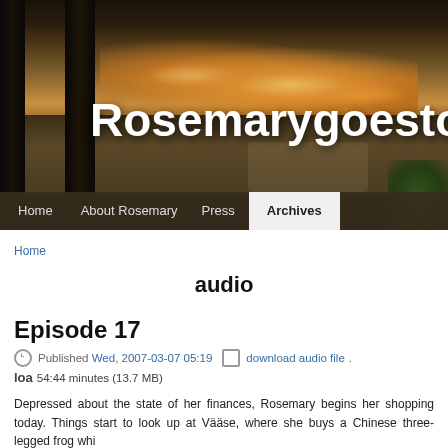[Figure (photo): Indoor market/shopping mall corridor photo used as website header background, showing warm lights, stalls, and a dark wooden floor perspective]
Rosemarygoestothema
Home  About Rosemary  Press  Archives
Home
audio
Episode 17
Published Wed, 2007-03-07 05:19   download audio file . loa 54:44 minutes (13.7 MB)
Depressed about the state of her finances, Rosemary begins her shopping today. Things start to look up at Vääse, where she buys a Chinese three-legged frog whi